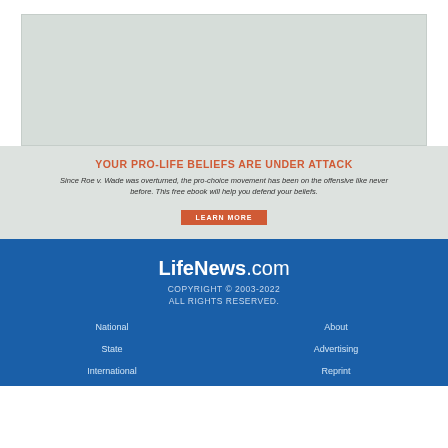[Figure (other): Gray placeholder image box at top of page]
YOUR PRO-LIFE BELIEFS ARE UNDER ATTACK
Since Roe v. Wade was overturned, the pro-choice movement has been on the offensive like never before. This free ebook will help you defend your beliefs.
LEARN MORE
LifeNews.com
COPYRIGHT © 2003-2022
ALL RIGHTS RESERVED.
National
State
International
About
Advertising
Reprint